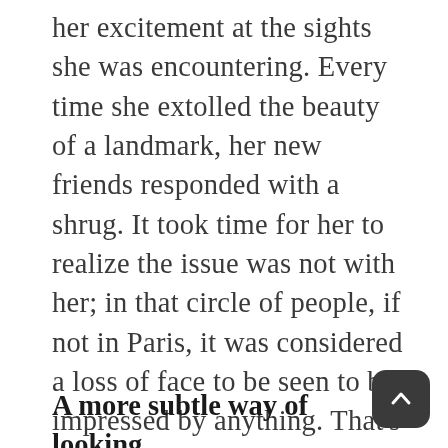her excitement at the sights she was encountering. Every time she extolled the beauty of a landmark, her new friends responded with a shrug. It took time for her to realize the issue was not with her; in that circle of people, if not in Paris, it was considered a loss of face to be seen to be impressed by anything. That's all very well, but this behavior is a joy-kill. Joy is such a rare commodity in this world that it seems tragic to go around killing it.
A more subtle way of looking